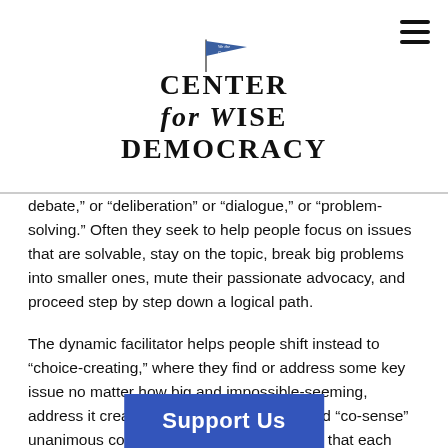Center for Wise Democracy
debate,” or “deliberation” or “dialogue,” or “problem-solving.” Often they seek to help people focus on issues that are solvable, stay on the topic, break big problems into smaller ones, mute their passionate advocacy, and proceed step by step down a logical path.
The dynamic facilitator helps people shift instead to “choice-creating,” where they find or address some key issue no matter how big and impossible-seeming, address it creatively and collaboratively, and “co-sense” unanimous conclusions. He or she assures that each comment is heard and appreciated by the group, framing it as a solution, concern, item of data, or new statement of the problem. This way, no matter what comment is made or how it is said, the group benefits. The dynamic facilitator... energy in the
Support Us